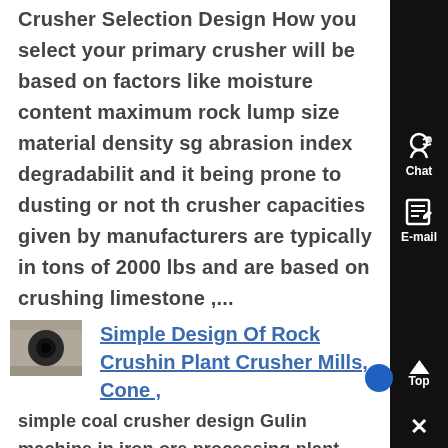Crusher Selection Design How you select your primary crusher will be based on factors like moisture content maximum rock lump size material density sg abrasion index degradability and it being prone to dusting or not the crusher capacities given by manufacturers are typically in tons of 2000 lbs and are based on crushing limestone ,...
[Figure (photo): Small thumbnail photo of a rock crusher or mining equipment showing a dark circular opening]
Simple Design Of Rock Crushing Plant Crusher Mills, Cone ,
simple coal crusher design Gulin machine in iron ore processing plant, simple coal crusher design Gulin provide the simple coal crusher design ...